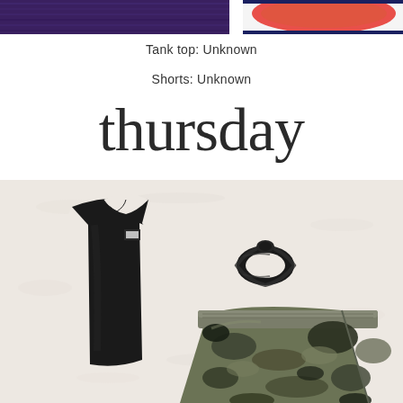[Figure (photo): Partial view of workout clothing laid flat — purple fabric and coral/red item visible at top]
Tank top: Unknown
Shorts: Unknown
thursday
[Figure (photo): Flat lay of black velvet tank top, black scrunchie, and camouflage shorts on white fluffy background]